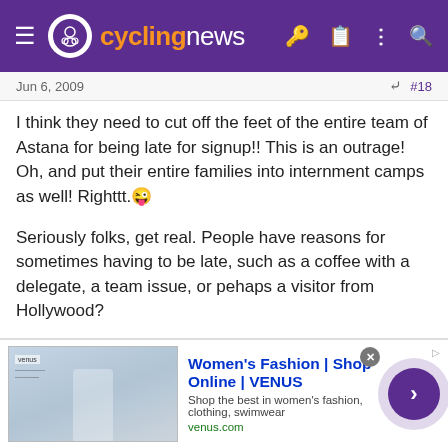cyclingnews
Jun 6, 2009	#18
I think they need to cut off the feet of the entire team of Astana for being late for signup!! This is an outrage! Oh, and put their entire families into internment camps as well! Righttt. 😜
Seriously folks, get real. People have reasons for sometimes having to be late, such as a coffee with a delegate, a team issue, or pehaps a visitor from Hollywood?
For the boring doping whistle-blowers: Get real! Do you really think the "time to dope" would be minutes before a race?? Or that veterans of the peloton would be needing enhancers to keep up with youngsters that havent proven anything?
I say, let them pay the fines and get on with the racing! Everyone is
[Figure (other): Advertisement banner for Women's Fashion | Shop Online | VENUS. Shows venus.com with tagline 'Shop the best in women's fashion, clothing, swimwear' and a purple circular arrow button.]